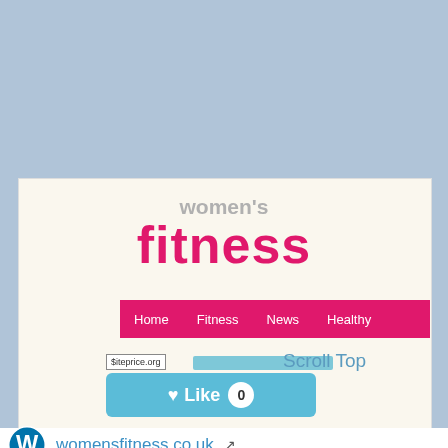[Figure (screenshot): Women's Fitness website screenshot showing logo, pink navigation bar with Home, Fitness, News, Healthy items, siteprice.org watermark, like button, and site info]
women's fitness
Home   Fitness   News   Healthy
Scroll Top
$iteprice.org
♥ Like  0
womensfitness.co.uk
home | women's fitness
fit body, fit mind! the latest exercise, health, nutrition